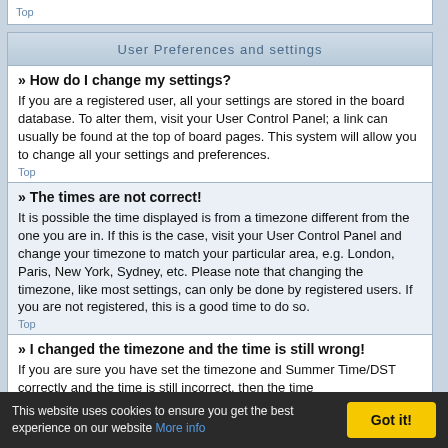Top
User Preferences and settings
» How do I change my settings?
If you are a registered user, all your settings are stored in the board database. To alter them, visit your User Control Panel; a link can usually be found at the top of board pages. This system will allow you to change all your settings and preferences.
Top
» The times are not correct!
It is possible the time displayed is from a timezone different from the one you are in. If this is the case, visit your User Control Panel and change your timezone to match your particular area, e.g. London, Paris, New York, Sydney, etc. Please note that changing the timezone, like most settings, can only be done by registered users. If you are not registered, this is a good time to do so.
Top
» I changed the timezone and the time is still wrong!
If you are sure you have set the timezone and Summer Time/DST correctly and the time is still incorrect, then the time
This website uses cookies to ensure you get the best experience on our website More info